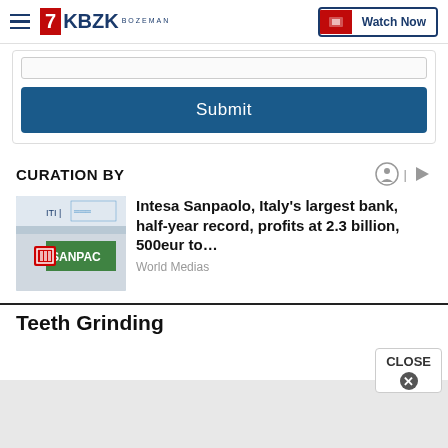KBZK BOZEMAN | Watch Now
[Figure (screenshot): Submit button form area with input bar and blue Submit button]
CURATION BY
[Figure (photo): Intesa Sanpaolo bank exterior signage photo]
Intesa Sanpaolo, Italy's largest bank, half-year record, profits at 2.3 billion, 500eur to…
World Medias
Teeth Grinding
[Figure (other): Close button overlay with X and gray advertisement area below]